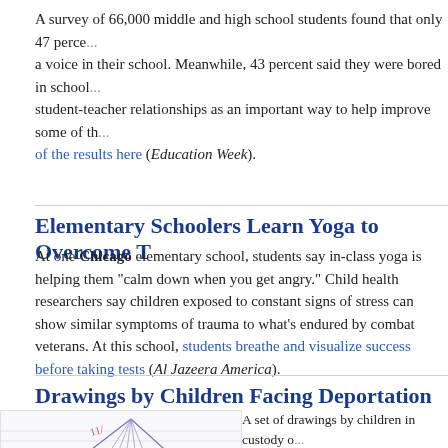A survey of 66,000 middle and high school students found that only 47 percent felt they had a voice in their school. Meanwhile, 43 percent said they were bored in school... student-teacher relationships as an important way to help improve some of the results here (Education Week).
Elementary Schoolers Learn Yoga to Overcome T...
At one Chicago elementary school, students say in-class yoga is helping them "calm down when you get angry." Child health researchers say children exposed to constant signs of stress can show similar symptoms of trauma to what's endured by combat veterans. At this school, students breathe and visualize success before taking tests (Al Jazeera America).
Drawings by Children Facing Deportation Illust...
[Figure (illustration): A child's pencil drawing showing a triangular mountain or house shape with handwritten text '11/' and '11:00 AM' visible]
A set of drawings by children in custody of... Enforcement in Dilley, Texas, is getting so... The children -- who are from El Salvador,... drew pictures of what happened when ICE...